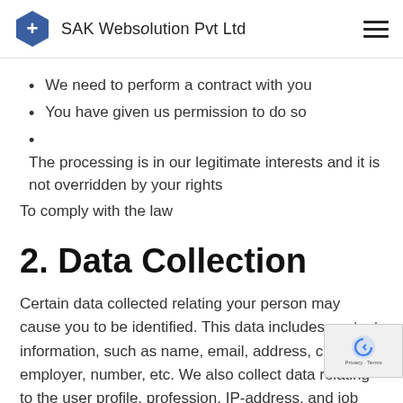SAK Websolution Pvt Ltd
We need to perform a contract with you
You have given us permission to do so
The processing is in our legitimate interests and it is not overridden by your rights
To comply with the law
2. Data Collection
Certain data collected relating your person may cause you to be identified. This data includes contact information, such as name, email, address, country, employer, number, etc. We also collect data relating to the user profile, profession, IP-address, and job title
As mentioned in the terminology, we collect data in two ways: